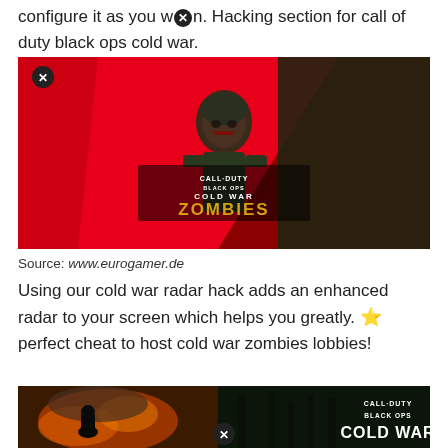configure it as you w✕n. Hacking section for call of duty black ops cold war.
[Figure (illustration): Call of Duty Black Ops Cold War Zombies promotional image featuring a zombie soldier on a red background with 'CALL OF DUTY BLACK OPS COLD WAR ZOMBIES' text logo and a close button overlay]
Source: www.eurogamer.de
Using our cold war radar hack adds an enhanced radar to your screen which helps you greatly. ⭐ perfect cheat to host cold war zombies lobbies!
[Figure (illustration): Call of Duty Black Ops Cold War promotional image showing a soldier in front of explosions with 'CALL OF DUTY BLACK OPS COLD WAR' logo and a close button overlay]